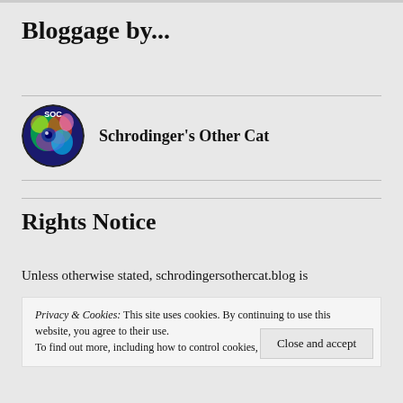Bloggage by...
Schrodinger's Other Cat
Rights Notice
Unless otherwise stated, schrodingersothercat.blog is
Privacy & Cookies: This site uses cookies. By continuing to use this website, you agree to their use.
To find out more, including how to control cookies, see here: Cookie Policy
Close and accept